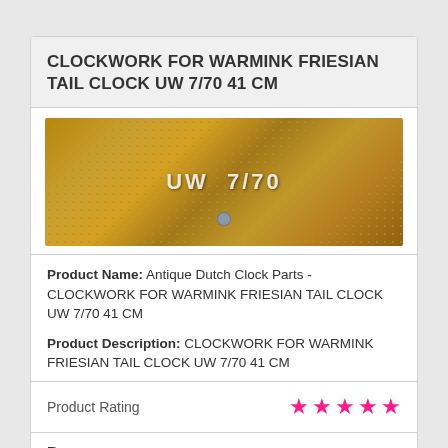CLOCKWORK FOR WARMINK FRIESIAN TAIL CLOCK UW 7/70 41 CM
[Figure (photo): Close-up photo of a brass/golden clock movement plate stamped with 'UW 7/70', showing a dotted pattern surface with a metallic rivet or button at the bottom center.]
Product Name: Antique Dutch Clock Parts - CLOCKWORK FOR WARMINK FRIESIAN TAIL CLOCK UW 7/70 41 CM
Product Description: CLOCKWORK FOR WARMINK FRIESIAN TAIL CLOCK UW 7/70 41 CM
Product Rating ★★★★★
Buyer